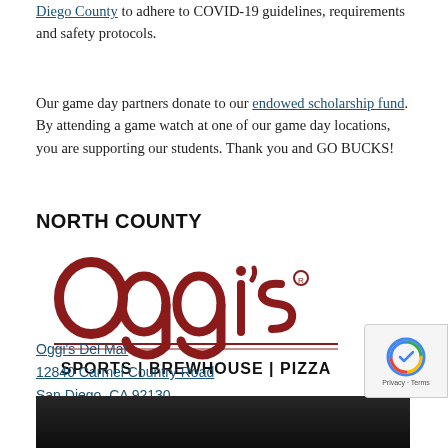Diego County to adhere to COVID-19 guidelines, requirements and safety protocols.
Our game day partners donate to our endowed scholarship fund. By attending a game watch at one of our game day locations, you are supporting our students. Thank you and GO BUCKS!
NORTH COUNTY
[Figure (logo): Oggi's Sports | Brewhouse | Pizza logo in red script and black text]
Oggi's Del Mar
12840 Carmel Country Road
San Diego, CA 92130
(858) 481-2621
[Figure (photo): Dark photo at the bottom of the page]